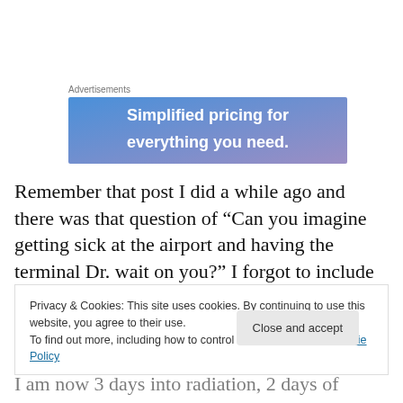Advertisements
[Figure (other): Advertisement banner with gradient background (blue to purple) showing text: Simplified pricing for everything you need.]
Remember that post I did a while ago and there was that question of “Can you imagine getting sick at the airport and having the terminal Dr. wait on you?” I forgot to include “Why is it that we see Dr.’s that just practice
Privacy & Cookies: This site uses cookies. By continuing to use this website, you agree to their use.
To find out more, including how to control cookies, see here: Cookie Policy
I am now 3 days into radiation, 2 days of chemo, and I